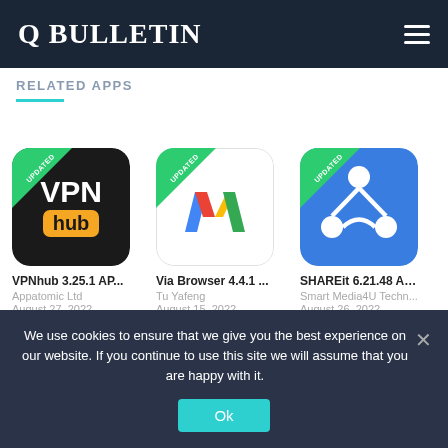Q BULLETIN
RELATED APPS
[Figure (screenshot): VPNhub app icon: black background with 'VPN' text and orange 'hub' box, UPDATED badge]
VPNhub 3.25.1 AP...
Appatomic Ltd
August 27, 2022
[Figure (screenshot): Via Browser app icon: white background with colored M/arrow logo, UPDATED badge]
Via Browser 4.4.1 ...
Tu Yafeng
August 15, 2022
[Figure (screenshot): SHAREit app icon: blue background with white share symbol, UPDATED badge]
SHAREit 6.21.48 AP...
Smart Media4U Techn...
August 26, 2022
We use cookies to ensure that we give you the best experience on our website. If you continue to use this site we will assume that you are happy with it.